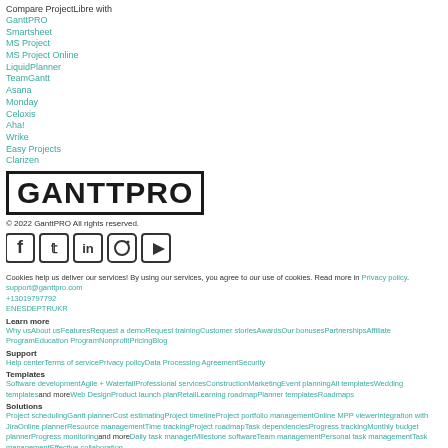Compare ProjectLibre with
GanttPRO
Smartsheet
MS Project
MS Project Online
LiquidPlanner
TeamGantt
Asana
Monday
Celoxis
Aha!
Wrike
Easy Projects
Clarizen
[Figure (logo): GanttPRO logo in bold block letters with border]
© 2022 GanttPRO All rights reserved.
[Figure (illustration): Social media icons: Facebook, Twitter, LinkedIn, Instagram, YouTube]
Cookies help us deliver our services! By using our services, you agree to our use of cookies. Read more in Privacy policy. support@ganttpro.com +13019797792 EN ES DE PT RU KR
Learn more
Why usAbout usFeaturesRequest a demoRequest trainingCustomer storiesAwardsOur bonusesPartnershipsAffiliate ProgramEducation ProgramNonprofitPricingBlog
Support
Help centerTerms of servicePrivacy policyData Processing AgreementSecurity
Templates
Software developmentAgile + WaterfallProfessional servicesConstructionMarketingEvent planningAll templatesWedding templatesand moreWeb DesignProduct launch planRetailLearning roadmapPlanner templatesRoadmaps
Solutions
Project schedulingGantt plannerCost estimatingProject timelineProject portfolio managementOnline MPP viewerIntegration with JiraOnline plannerResource managementTime trackingProject roadmapTask dependenciesProgress trackingMonthly budget plannerProgress monitoringand moreDaily task managerMilestone softwareTeam managementPersonal task managementTask managementEffective collaboration
Alternative
Wrike alternativeLiquidplanner alternativeSmartsheet alternativeMS Project alternativeMS Project Online alternativeTeamgantt alternativeAsana alternativeMonday alternativeCeloxis alternativeand moreAha alternativeEasyprojects alternativeProjectLibre alternativeClarizen alternative